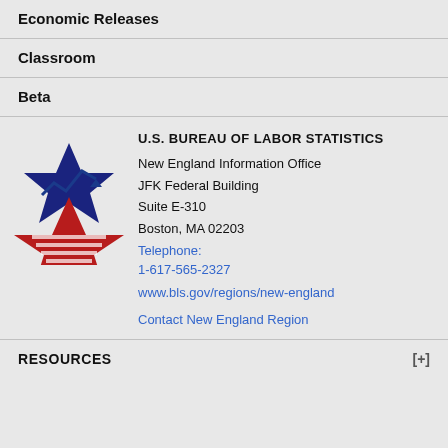Economic Releases
Classroom
Beta
[Figure (logo): U.S. Bureau of Labor Statistics logo — blue star with lightning bolt chart arrow on top, red striped star below]
U.S. BUREAU OF LABOR STATISTICS
New England Information Office
JFK Federal Building
Suite E-310
Boston, MA 02203
Telephone: 1-617-565-2327
www.bls.gov/regions/new-england
Contact New England Region
RESOURCES